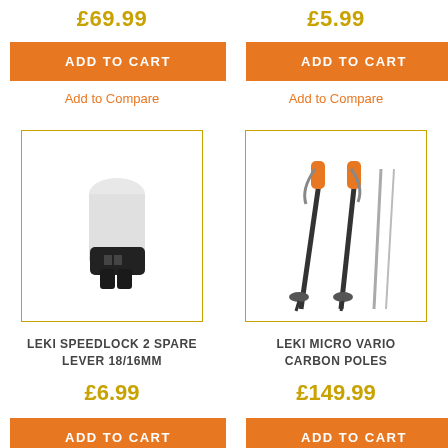£69.99
£5.99
ADD TO CART
ADD TO CART
Add to Compare
Add to Compare
[Figure (photo): LEKI Speedlock 2 spare lever 18/16mm product photo - white cylindrical component with black lever bracket]
[Figure (photo): LEKI Micro Vario Carbon Poles product photo - black trekking poles with orange handles and wrist straps]
LEKI SPEEDLOCK 2 SPARE LEVER 18/16MM
LEKI MICRO VARIO CARBON POLES
£6.99
£149.99
ADD TO CART
ADD TO CART